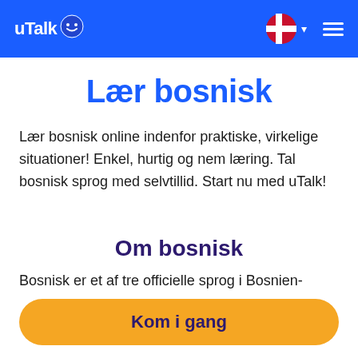uTalk
Lær bosnisk
Lær bosnisk online indenfor praktiske, virkelige situationer! Enkel, hurtig og nem læring. Tal bosnisk sprog med selvtillid. Start nu med uTalk!
Om bosnisk
Bosnisk er et af tre officielle sprog i Bosnien-
Kom i gang